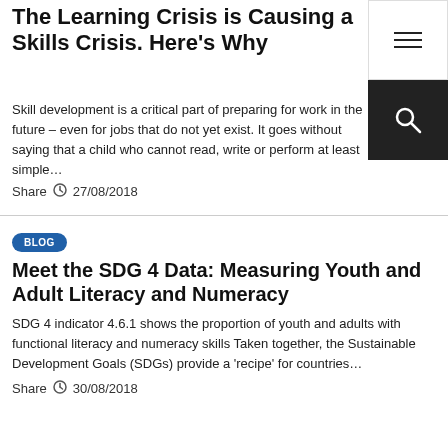The Learning Crisis is Causing a Skills Crisis. Here’s Why
Skill development is a critical part of preparing for work in the future – even for jobs that do not yet exist. It goes without saying that a child who cannot read, write or perform at least simple…
Share  27/08/2018
BLOG
Meet the SDG 4 Data: Measuring Youth and Adult Literacy and Numeracy
SDG 4 indicator 4.6.1 shows the proportion of youth and adults with functional literacy and numeracy skills Taken together, the Sustainable Development Goals (SDGs) provide a ‘recipe’ for countries…
Share  30/08/2018